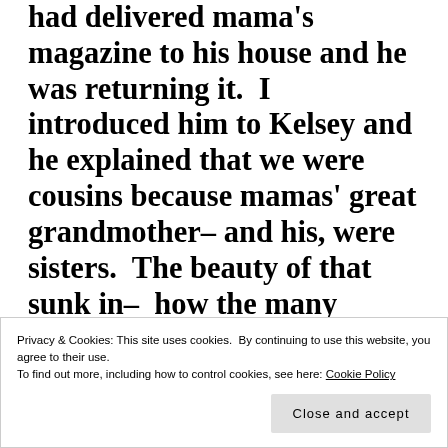had delivered mama's magazine to his house and he was returning it. I introduced him to Kelsey and he explained that we were cousins because mamas' great grandmother– and his, were sisters. The beauty of that sunk in– how the many generations had remained a unit. I thought about the sisters tending their children and wondered if they would have believed that more than one hundred years and six
Privacy & Cookies: This site uses cookies. By continuing to use this website, you agree to their use. To find out more, including how to control cookies, see here: Cookie Policy